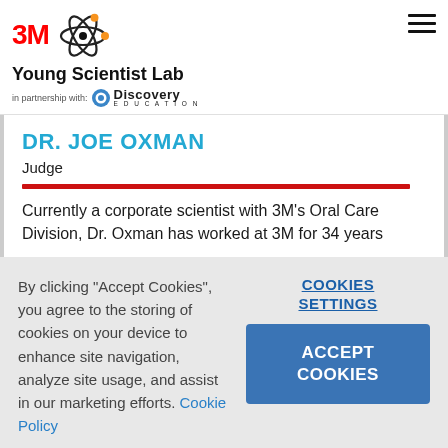[Figure (logo): 3M Young Scientist Lab logo with atom graphic and Discovery Education partnership text]
DR. JOE OXMAN
Judge
Currently a corporate scientist with 3M's Oral Care Division, Dr. Oxman has worked at 3M for 34 years
By clicking "Accept Cookies", you agree to the storing of cookies on your device to enhance site navigation, analyze site usage, and assist in our marketing efforts. Cookie Policy
COOKIES SETTINGS
ACCEPT COOKIES